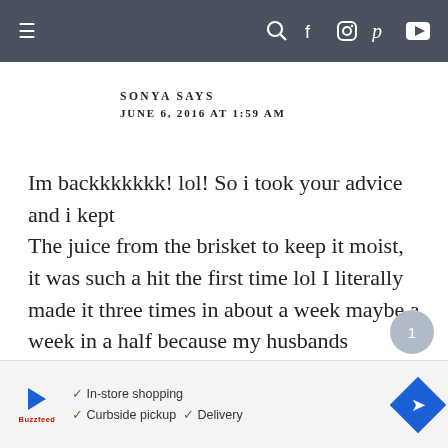≡  🔍 f 📷 𝒫 ▶
SONYA SAYS
JUNE 6, 2016 AT 1:59 AM
Im backkkkkkk! lol! So i took your advice and i kept
The juice from the brisket to keep it moist, it was such a hit the first time lol I literally made it three times in about a week maybe a week in a half because my husbands coworkers absolutely loved it lol. Someone
[Figure (infographic): Advertisement banner with play button, store logo, checkmarks listing In-store shopping, Curbside pickup, Delivery, and a blue diamond arrow icon]